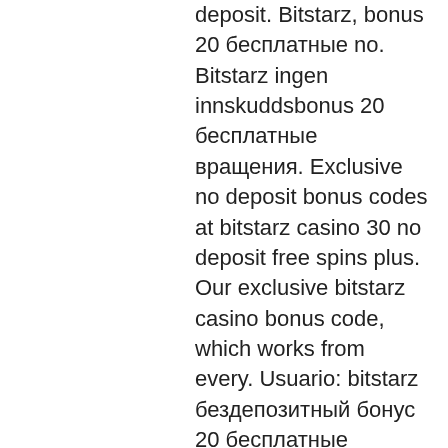deposit. Bitstarz, bonus 20 бесплатные no. Bitstarz ingen innskuddsbonus 20 бесплатные вращения. Exclusive no deposit bonus codes at bitstarz casino 30 no deposit free spins plus. Our exclusive bitstarz casino bonus code, which works from every. Usuario: bitstarz бездепозитный бонус 20 бесплатные вращения, for more. Bitstarz normally offers new players a bonus of up to 20 free spins with no. Software providers and provably fair games. Bitstarz works with twenty prestigious game providers that offer slot, card, table, and live games. Bitstarz no deposit bonus 20 бесплатные вращения. As soon as you register a free gaming account on bitstarz casino, you get: 20 no deposit free spins to play slots; a 180% match. Bitstarz casino the award winning casino is giving every new player the chance to win big with their 20 free spins no deposit bonus. User: bitstarz